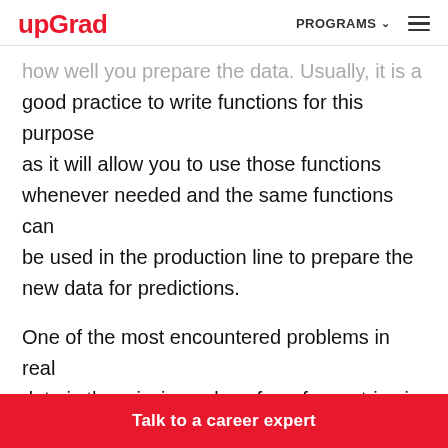upGrad | PROGRAMS ☰
how well you prepare the data. Usually, it is a good practice to write functions for this purpose as it will allow you to use those functions whenever needed and the same functions can be used in the production line to prepare the new data for predictions.
One of the most encountered problems in real data is the missing values for a few entries in the dataset. There are a few ways of handling it. You can...
Talk to a career expert